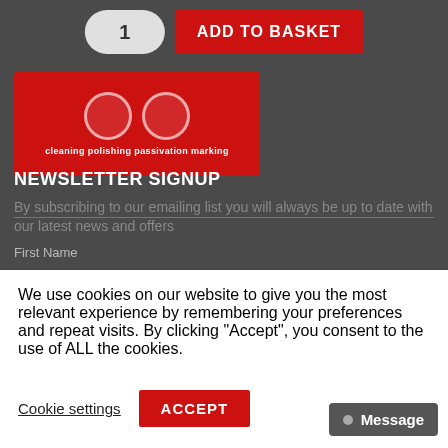[Figure (screenshot): Quantity selector pill showing '1' and red 'ADD TO BASKET' button]
[Figure (illustration): Red product banner with circular icons and text 'cleaning polishing passivation marking']
NEWSLETTER SIGNUP
By subscribing to our emailing list you will always be up to date with our latest news and offers
First Name
We use cookies on our website to give you the most relevant experience by remembering your preferences and repeat visits. By clicking “Accept”, you consent to the use of ALL the cookies.
Cookie settings
ACCEPT
Message